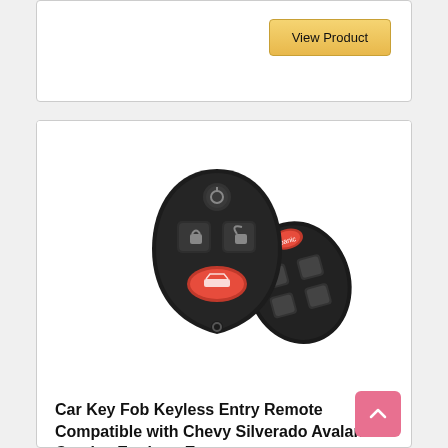View Product
[Figure (photo): Two black car key fob keyless entry remotes for Chevy vehicles, one facing front showing buttons (lock, unlock, trunk, panic) and one at angle showing similar buttons]
Car Key Fob Keyless Entry Remote Compatible with Chevy Silverado Avalanche Captiva Equinox Express